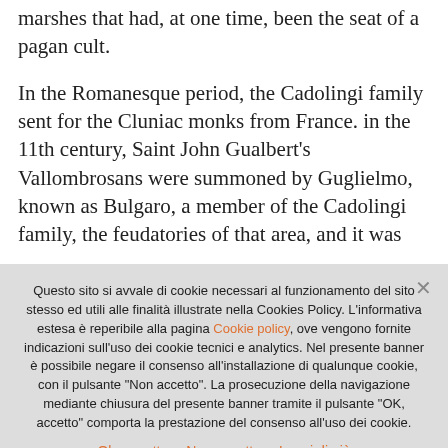marshes that had, at one time, been the seat of a pagan cult.
In the Romanesque period, the Cadolingi family sent for the Cluniac monks from France. in the 11th century, Saint John Gualbert's Vallombrosans were summoned by Guglielmo, known as Bulgaro, a member of the Cadolingi family, the feudatories of that area, and it was
Questo sito si avvale di cookie necessari al funzionamento del sito stesso ed utili alle finalità illustrate nella Cookies Policy. L'informativa estesa è reperibile alla pagina Cookie policy, ove vengono fornite indicazioni sull'uso dei cookie tecnici e analytics. Nel presente banner è possibile negare il consenso all'installazione di qualunque cookie, con il pulsante "Non accetto". La prosecuzione della navigazione mediante chiusura del presente banner tramite il pulsante "OK, accetto" comporta la prestazione del consenso all'uso dei cookie.
Ok, accetto   Non accetto   Leggi di più